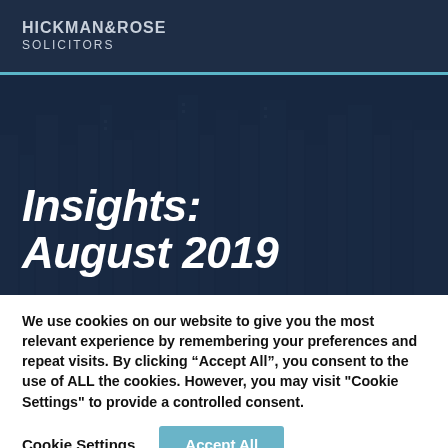HICKMAN&ROSE SOLICITORS
Insights: August 2019
We use cookies on our website to give you the most relevant experience by remembering your preferences and repeat visits. By clicking “Accept All”, you consent to the use of ALL the cookies. However, you may visit "Cookie Settings" to provide a controlled consent.
Cookie Settings  Accept All